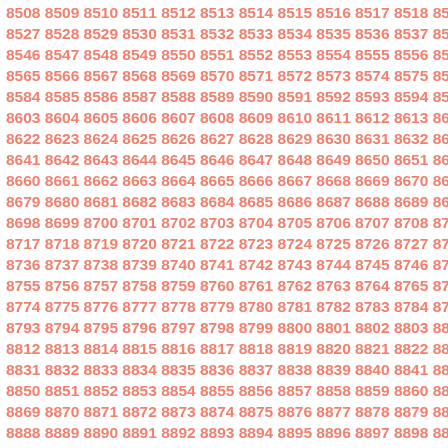Sequential number grid from approximately 8508 to 8919, displayed in rows of 14 numbers each, in salmon/coral color on white background.